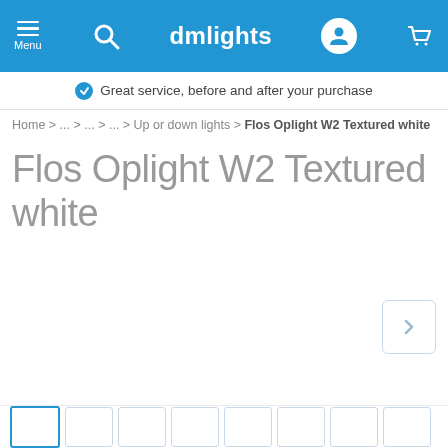dmlights — Menu, Search, User, Cart navigation
Great service, before and after your purchase
Home > ... > ... > ... > Up or down lights > Flos Oplight W2 Textured white
Flos Oplight W2 Textured white
[Figure (other): Product image carousel area with right arrow navigation button and thumbnail strip at bottom]